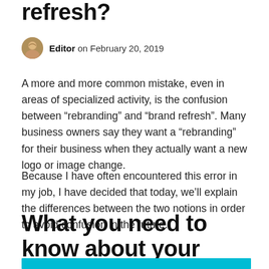refresh?
Editor on February 20, 2019
A more and more common mistake, even in areas of specialized activity, is the confusion between “rebranding” and “brand refresh”. Many business owners say they want a “rebranding” for their business when they actually want a new logo or image change.
Because I have often encountered this error in my job, I have decided that today, we’ll explain the differences between the two notions in order to avoid confusion in the future.
What you need to know about your business